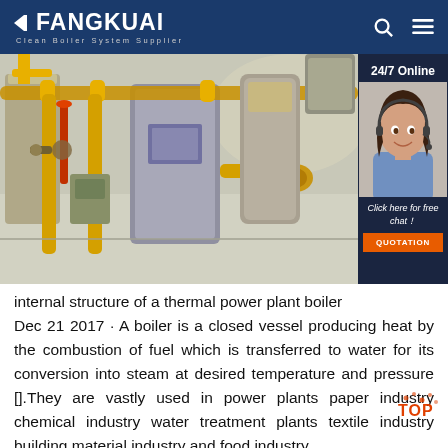FANGKUAI Clean Boiler System Supplier
[Figure (photo): Industrial boiler room with yellow gas pipes, pressure vessels, and mechanical equipment in a large facility. Right sidebar shows a customer service agent with headset and text '24/7 Online', 'Click here for free chat!', and 'QUOTATION' button.]
internal structure of a thermal power plant boiler Dec 21 2017 · A boiler is a closed vessel producing heat by the combustion of fuel which is transferred to water for its conversion into steam at desired temperature and pressure [].They are vastly used in power plants paper industry chemical industry water treatment plants textile industry building material industry and food industry.